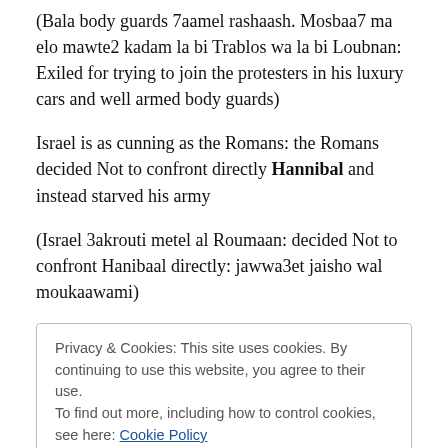(Bala body guards 7aamel rashaash. Mosbaa7 ma elo mawte2 kadam la bi Trablos wa la bi Loubnan: Exiled for trying to join the protesters in his luxury cars and well armed body guards)
Israel is as cunning as the Romans: the Romans decided Not to confront directly Hannibal and instead starved his army
(Israel 3akrouti metel al Roumaan: decided Not to confront Hanibaal directly: jawwa3et jaisho wal moukaawami)
Privacy & Cookies: This site uses cookies. By continuing to use this website, you agree to their use.
To find out more, including how to control cookies, see here: Cookie Policy
opposition", like Samir and Walid?